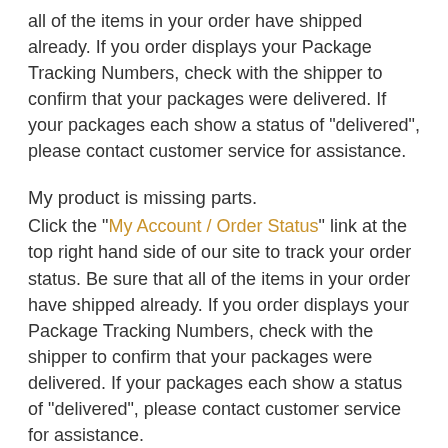all of the items in your order have shipped already. If you order displays your Package Tracking Numbers, check with the shipper to confirm that your packages were delivered. If your packages each show a status of "delivered", please contact customer service for assistance.
My product is missing parts.
Click the "My Account / Order Status" link at the top right hand side of our site to track your order status. Be sure that all of the items in your order have shipped already. If you order displays your Package Tracking Numbers, check with the shipper to confirm that your packages were delivered. If your packages each show a status of "delivered", please contact customer service for assistance.
When will my backorder arrive?
Backordered items are those which our suppliers are unable to predict when they will have more in stock, but as soon as they do, we will be able to ship the item to you.